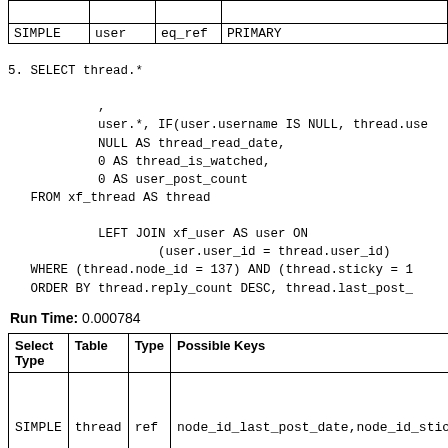|  |  |  |  |
| --- | --- | --- | --- |
| SIMPLE | user | eq_ref | PRIMARY |
5. SELECT thread.*
            ,
            user.*, IF(user.username IS NULL, thread.use
            NULL AS thread_read_date,
            0 AS thread_is_watched,
            0 AS user_post_count
   FROM xf_thread AS thread

            LEFT JOIN xf_user AS user ON
                    (user.user_id = thread.user_id)
   WHERE (thread.node_id = 137) AND (thread.sticky = 1
   ORDER BY thread.reply_count DESC, thread.last_post_
Run Time: 0.000784
| Select Type | Table | Type | Possible Keys |
| --- | --- | --- | --- |
| SIMPLE | thread | ref | node_id_last_post_date,node_id_stic |